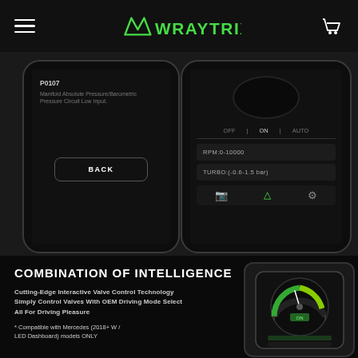WRAYTRIX navigation header with hamburger menu, logo, and cart icon
[Figure (screenshot): Two smartphone mockups showing WRAYTRIX app interface. Left phone shows error code P0107 - Manifold Absolute Pressure/Barometric Pressure Circuit Low Input with BACK button. Right phone shows OFF/ON/AUTO toggle, RPM 0-10000, TURBO (-0.6-1.5 bar) settings with icons.]
COMBINATION OF INTELLIGENCE
Cutting-Edge Interactive Valve Control Technology Simply Control Valves With OEM Driving Mode Select All For Driving Pleasure
* Compatible with Mercedes (2018+ W / LED Dashboard) models ONLY
[Figure (screenshot): Smartphone mounted showing a circular gauge/speedometer dashboard app with green display on dark background]